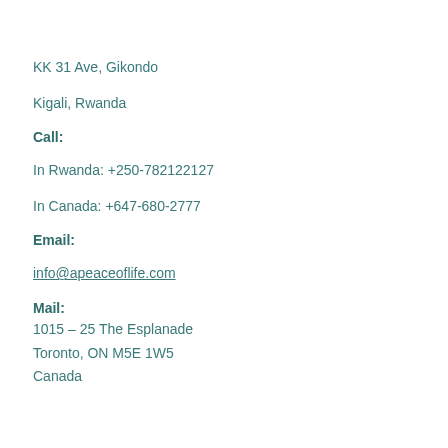KK 31 Ave, Gikondo
Kigali, Rwanda
Call:
In Rwanda: +250-782122127
In Canada: +647-680-2777
Email:
info@apeaceoflife.com
Mail:
1015 – 25 The Esplanade
Toronto, ON  M5E 1W5
Canada